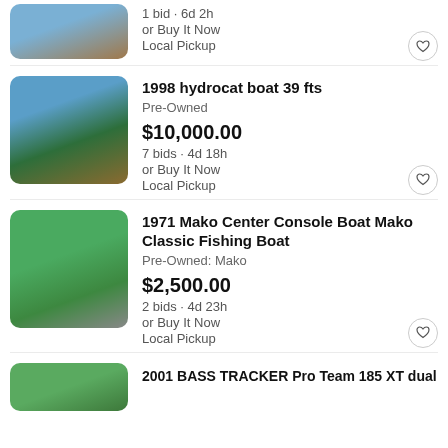[Figure (photo): Partial top listing: thumbnail of a boat/trailer on gravel, cropped at top]
1 bid · 6d 2h
or Buy It Now
Local Pickup
[Figure (photo): 1998 hydrocat boat on trailer outdoors, blue sky background]
1998 hydrocat boat 39 fts
Pre-Owned
$10,000.00
7 bids · 4d 18h
or Buy It Now
Local Pickup
[Figure (photo): 1971 Mako Center Console boat, green hull, on grass]
1971 Mako Center Console Boat Mako Classic Fishing Boat
Pre-Owned: Mako
$2,500.00
2 bids · 4d 23h
or Buy It Now
Local Pickup
[Figure (photo): Partial bottom listing: 2001 BASS TRACKER Pro Team 185 XT dual, thumbnail partially visible]
2001 BASS TRACKER Pro Team 185 XT dual